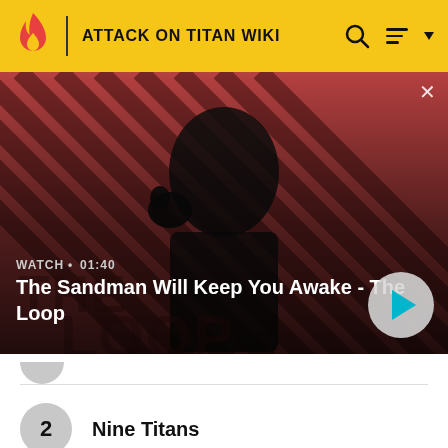ATTACK ON TITAN WIKI
[Figure (screenshot): Promotional video thumbnail with diagonal red/dark stripe background pattern, a dark-clad figure with a bird on their shoulder, overlaid with 'WATCH • 01:40' and title 'The Sandman Will Keep You Awake - The Loop', plus a circular play button]
WATCH • 01:40
The Sandman Will Keep You Awake - The Loop
2  Nine Titans